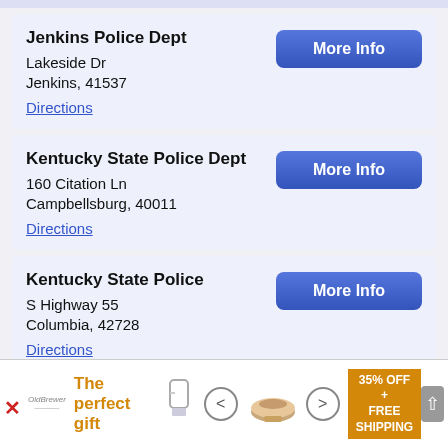Jenkins Police Dept
Lakeside Dr
Jenkins, 41537
Directions
Kentucky State Police Dept
160 Citation Ln
Campbellsburg, 40011
Directions
Kentucky State Police
S Highway 55
Columbia, 42728
Directions
[Figure (screenshot): Advertisement banner: 'The perfect gift' with navigation arrows, bowl image, and '35% OFF + FREE SHIPPING' offer]